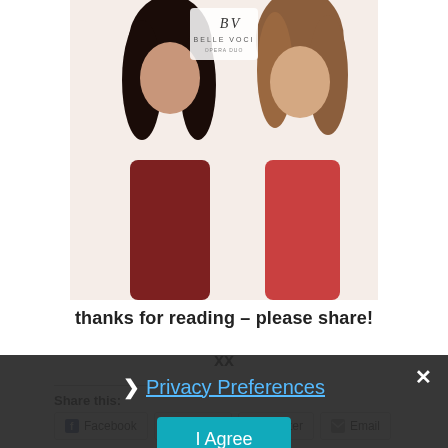[Figure (photo): Album cover for Belle Voci opera duo showing two women — one with dark hair, one with lighter hair — against a white background with the Belle Voci logo at top.]
thanks for reading – please share!
xx
Share this:
Facebook  Tumblr  Twitter  Email
Pinterest
Privacy Preferences
I Agree
Related: